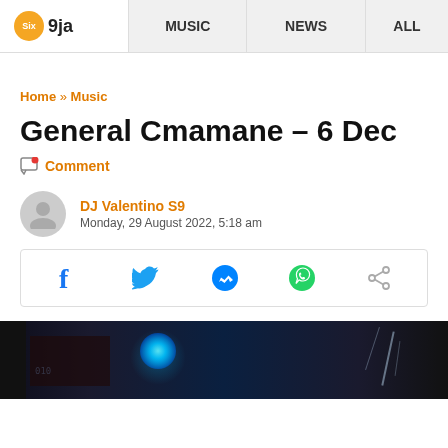Six 9ja — MUSIC | NEWS | ALL
Home » Music
General Cmamane – 6 Dec
Comment
DJ Valentino S9
Monday, 29 August 2022, 5:18 am
[Figure (infographic): Social share buttons: Facebook, Twitter, Messenger, WhatsApp, Share]
[Figure (photo): Dark cinematic image with blue glowing light, dark panels and light streaks]